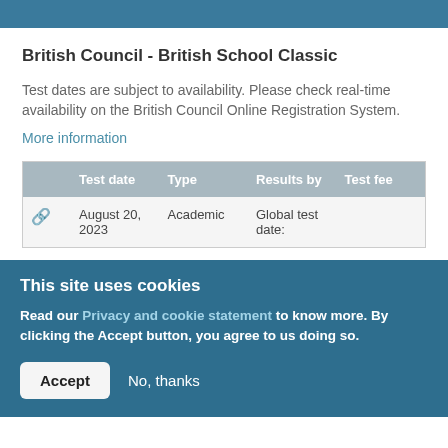British Council - British School Classic
Test dates are subject to availability. Please check real-time availability on the British Council Online Registration System.
More information
|  | Test date | Type | Results by | Test fee |
| --- | --- | --- | --- | --- |
| 🔗 | August 20, 2023 | Academic | Global test date: |  |
This site uses cookies
Read our Privacy and cookie statement to know more. By clicking the Accept button, you agree to us doing so.
Accept  No, thanks